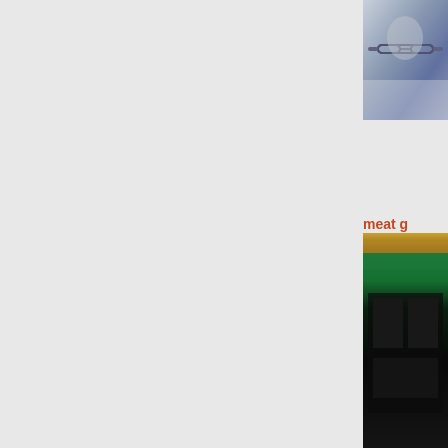[Figure (photo): Photo of a person wearing glasses, partially visible, at top right corner]
meat g know
Take fu meat g from Ca to ensu expecta safety s
[Figure (photo): Photo showing green and dark industrial or food processing equipment at bottom right]